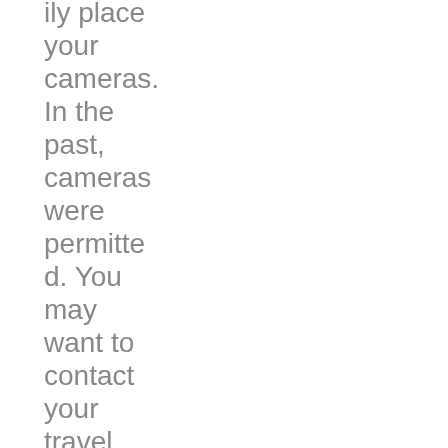ily place your cameras. In the past, cameras were permitted. You may want to contact your travel tour guide to